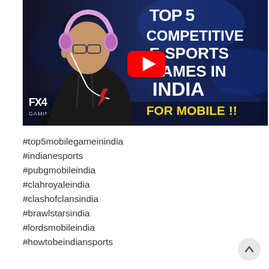[Figure (screenshot): YouTube video thumbnail showing a young male gamer wearing pink headphones and glasses, sitting at a gaming setup with FX4 Gaming logo visible. Right side shows text: TOP 5 COMPETITIVE E-SPORTS GAMES IN INDIA FOR MOBILE!! A red YouTube play button is overlaid in the center.]
#top5mobilegameinindia
#indianesports
#pubgmobileindia
#clahroyaleindia
#clashofclansindia
#brawlstarsindia
#lordsmobileindia
#howtobeindiansports